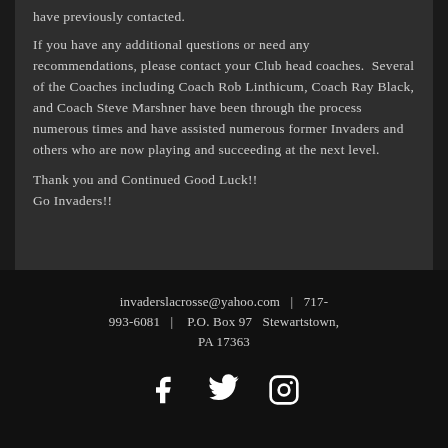have previously contacted.
If you have any additional questions or need any recommendations, please contact your Club head coaches.  Several of the Coaches including Coach Rob Linthicum, Coach Ray Black, and Coach Steve Marshner have been through the process numerous times and have assisted numerous former Invaders and others who are now playing and succeeding at the next level.
Thank you and Continued Good Luck!!
Go Invaders!!
invaderslacrosse@yahoo.com  |  717-993-6081  |  P.O. Box 97  Stewartstown, PA 17363